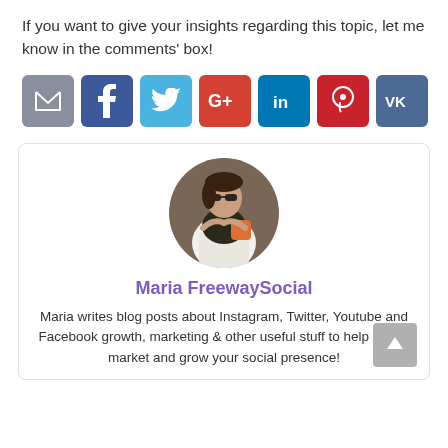If you want to give your insights regarding this topic, let me know in the comments' box!
[Figure (infographic): Social media share buttons: email (grey), Facebook (blue), Twitter (light blue), Google+ (red), LinkedIn (teal), Pinterest (red), VK (dark blue)]
[Figure (photo): Circular profile photo of Maria FreewaySocial, a woman with sunglasses sitting outdoors]
Maria FreewaySocial
Maria writes blog posts about Instagram, Twitter, Youtube and Facebook growth, marketing & other useful stuff to help you to market and grow your social presence!